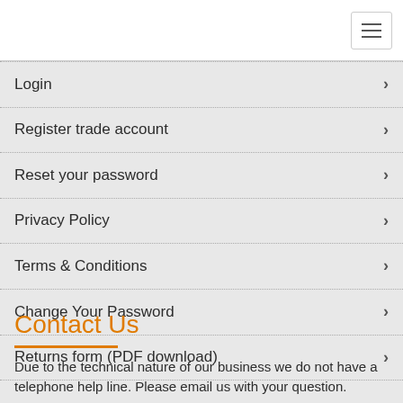Login
Register trade account
Reset your password
Privacy Policy
Terms & Conditions
Change Your Password
Returns form (PDF download)
Contact Us
Due to the technical nature of our business we do not have a telephone help line. Please email us with your question.